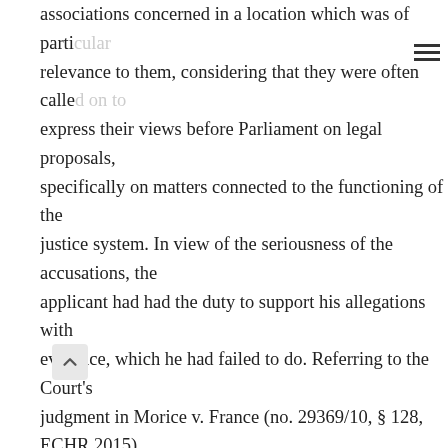associations concerned in a location which was of particular relevance to them, considering that they were often called on to express their views before Parliament on legal proposals, specifically on matters connected to the functioning of the justice system. In view of the seriousness of the accusations, the applicant had had the duty to support his allegations with evidence, which he had failed to do. Referring to the Court's judgment in Morice v. France (no. 29369/10, § 128, ECHR 2015), the Government contended that the applicant's conviction had been necessary in a democratic society to maintain the authority of the judiciary. 45. As regards the amounts of compensation in respect of non-pecuniary damage which the applicant had been ordered to pay, the Government submitted that they were proportionate to the damage caused. (a) Existence of an interference 46. The Court notes at the outset that the parties did not dispute